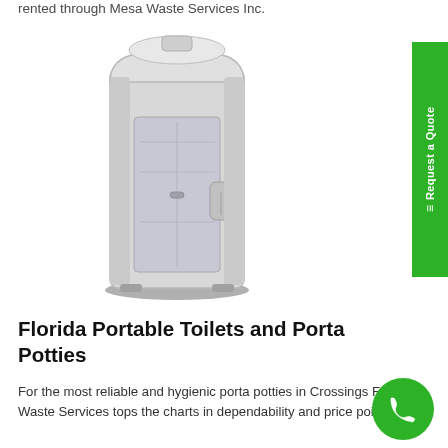rented through Mesa Waste Services Inc.
[Figure (photo): A grey portable toilet / porta potty unit]
Florida Portable Toilets and Porta Potties
For the most reliable and hygienic porta potties in Crossings FL, Mesa Waste Services tops the charts in dependability and price point.